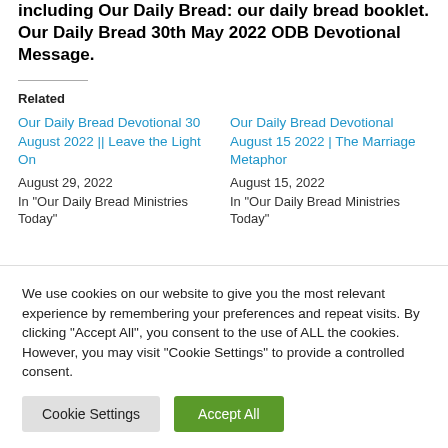including Our Daily Bread: our daily bread booklet. Our Daily Bread 30th May 2022 ODB Devotional Message.
Related
Our Daily Bread Devotional 30 August 2022 || Leave the Light On
August 29, 2022
In "Our Daily Bread Ministries Today"
Our Daily Bread Devotional August 15 2022 | The Marriage Metaphor
August 15, 2022
In "Our Daily Bread Ministries Today"
We use cookies on our website to give you the most relevant experience by remembering your preferences and repeat visits. By clicking "Accept All", you consent to the use of ALL the cookies. However, you may visit "Cookie Settings" to provide a controlled consent.